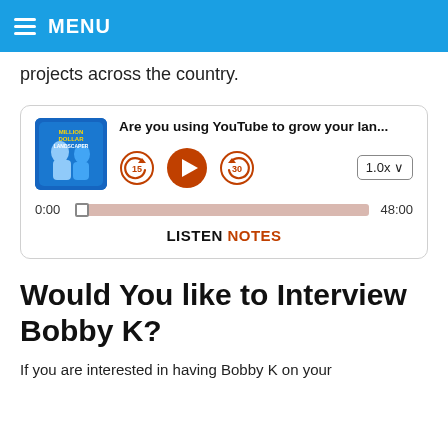MENU
projects across the country.
[Figure (screenshot): Podcast player widget showing 'Are you using YouTube to grow your lan...' with playback controls (rewind 15s, play, forward 30s), speed 1.0x, progress bar from 0:00 to 48:00, and LISTEN NOTES branding.]
Would You like to Interview Bobby K?
If you are interested in having Bobby K on your